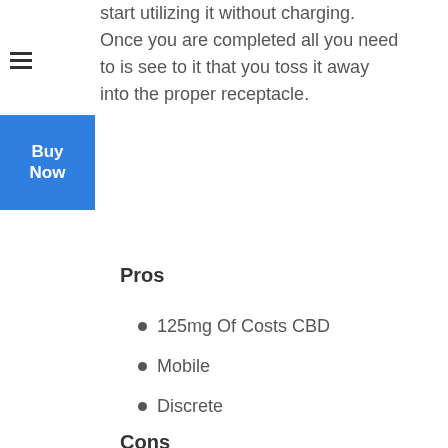start utilizing it without charging. Once you are completed all you need to is see to it that you toss it away into the proper receptacle.
[Figure (other): Buy Now button (blue rectangle overlay)]
Pros
125mg Of Costs CBD
Mobile
Discrete
Cons
Can not Be Replenished
Only Offered In One Size